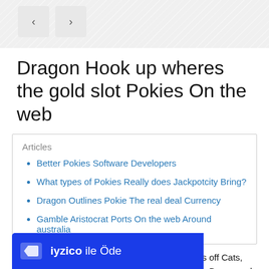[Figure (other): Navigation previous and next buttons (< and >)]
Dragon Hook up wheres the gold slot Pokies On the web
Articles
Better Pokies Software Developers
What types of Pokies Really does Jackpotcity Bring?
Dragon Outlines Pokie The real deal Currency
Gamble Aristocrat Ports On the web Around australia
Experience the fun and you can spooky themes off Cats, Caps and a lot more Bats with multiple Jackpot, Bonus and you will Borrowing from the bank Honours in order to profit. Go after their ca... victory Jackpot an... nnect Heart th...
[Figure (other): iyzico payment banner with text 'iyzico ile Öde']